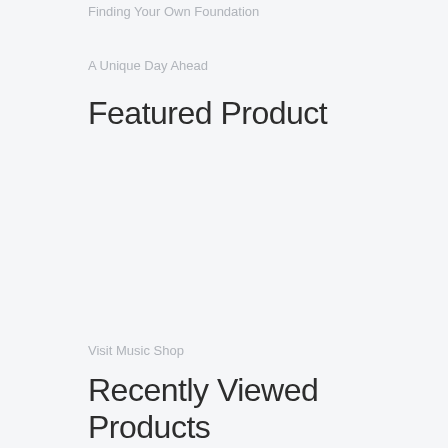Finding Your Own Foundation
A Unique Day Ahead
Featured Product
Visit Music Shop
Recently Viewed Products